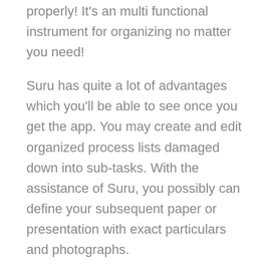properly!  It's an multi functional instrument for organizing no matter you need!
Suru has quite a lot of advantages which you'll be able to see once you get the app. You may create and edit organized process lists damaged down into sub-tasks. With the assistance of Suru, you possibly can define your subsequent paper or presentation with exact particulars and photographs.
It doesn't matter the place you're, you possibly can nonetheless brainstorm new concepts and initiatives from wherever, so always remember your subsequent large concept! You may take organised notes in your class or on the workplace.
You may as well snap and group vital or inspiring